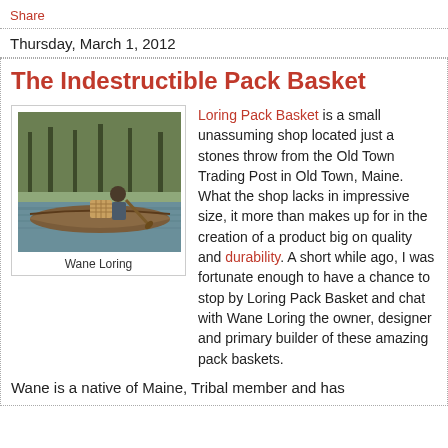Share
Thursday, March 1, 2012
The Indestructible Pack Basket
[Figure (photo): Man paddling a canoe on a calm wooded river with a wicker pack basket visible in the canoe. Caption: Wane Loring]
Loring Pack Basket is a small unassuming shop located just a stones throw from the Old Town Trading Post in Old Town, Maine. What the shop lacks in impressive size, it more than makes up for in the creation of a product big on quality and durability. A short while ago, I was fortunate enough to have a chance to stop by Loring Pack Basket and chat with Wane Loring the owner, designer and primary builder of these amazing pack baskets.
Wane is a native of Maine, Tribal member and has...